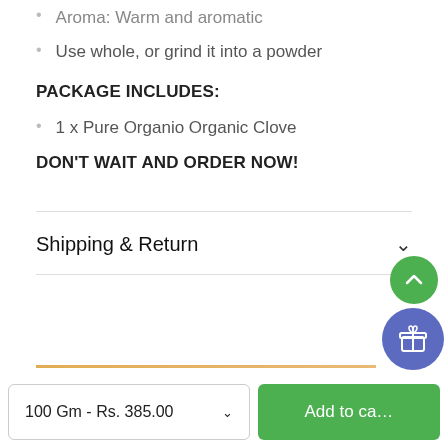Aroma: Warm and aromatic
Use whole, or grind it into a powder
PACKAGE INCLUDES:
1 x Pure Organio Organic Clove
DON'T WAIT AND ORDER NOW!
Shipping & Return
100 Gm - Rs. 385.00
Add to ca...